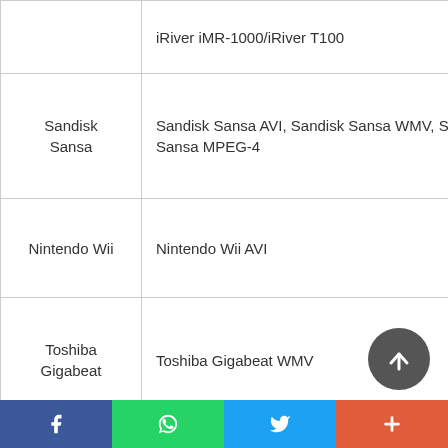| Device | Format |
| --- | --- |
|  | iRiver iMR-1000/iRiver T100 |
| Sandisk Sansa | Sandisk Sansa AVI, Sandisk Sansa WMV, Sandisk Sansa MPEG-4 |
| Nintendo Wii | Nintendo Wii AVI |
| Toshiba Gigabeat | Toshiba Gigabeat WMV |
| Mobile Phone | Mobile Phone 3GP, Mobile Phone 3GPP2, Mobile Phone MPEG-4, Nokia N-Serie |